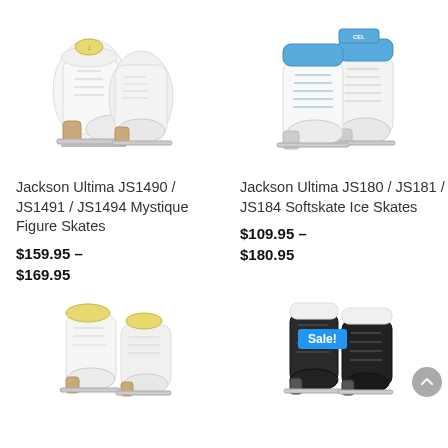[Figure (photo): White figure ice skates - Jackson Ultima JS1490/JS1491/JS1494 Mystique Figure Skates]
[Figure (photo): White ice skates with blue accent - Jackson Ultima JS180/JS181/JS184 Softskate Ice Skates]
Jackson Ultima JS1490 / JS1491 / JS1494 Mystique Figure Skates
$159.95 – $169.95
Jackson Ultima JS180 / JS181 / JS184 Softskate Ice Skates
$109.95 – $180.95
[Figure (photo): White figure ice skates - bottom row left product]
Sale!
[Figure (photo): Black ice skates with white accents - bottom row right product]